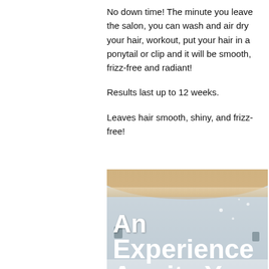No down time! The minute you leave the salon, you can wash and air dry your hair, workout, put your hair in a ponytail or clip and it will be smooth, frizz-free and radiant!
Results last up to 12 weeks.
Leaves hair smooth, shiny, and frizz-free!
[Figure (photo): Interior photo of a salon with warm arched ceiling and light gray walls, overlaid with large white bold text reading 'An Experience Awaits You']